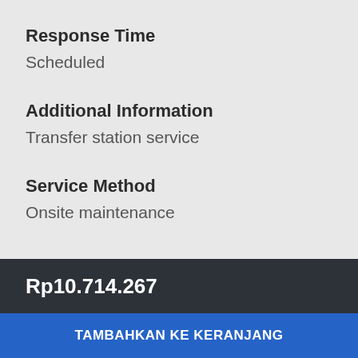Response Time
Scheduled
Additional Information
Transfer station service
Service Method
Onsite maintenance
Rp10.714.267
TAMBAHKAN KE KERANJANG